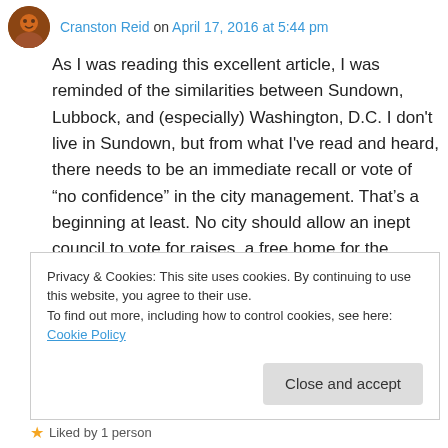Cranston Reid on April 17, 2016 at 5:44 pm
As I was reading this excellent article, I was reminded of the similarities between Sundown, Lubbock, and (especially) Washington, D.C. I don't live in Sundown, but from what I've read and heard, there needs to be an immediate recall or vote of “no confidence” in the city management. That’s a beginning at least. No city should allow an inept council to vote for raises, a free home for the emperor, and throwing scarce funds into a bottomless hole in one at the golf
Privacy & Cookies: This site uses cookies. By continuing to use this website, you agree to their use.
To find out more, including how to control cookies, see here: Cookie Policy
Close and accept
Liked by 1 person